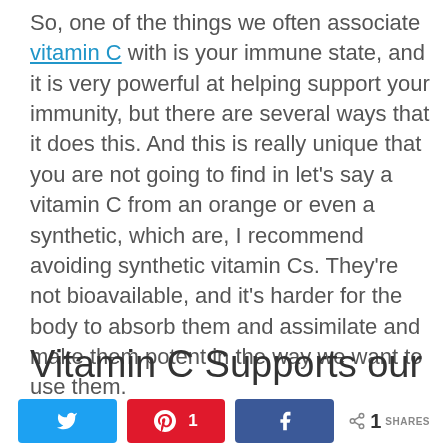So, one of the things we often associate vitamin C with is your immune state, and it is very powerful at helping support your immunity, but there are several ways that it does this. And this is really unique that you are not going to find in let’s say a vitamin C from an orange or even a synthetic, which are, I recommend avoiding synthetic vitamin Cs. They’re not bioavailable, and it’s harder for the body to absorb them and assimilate and make them potent in the way we want to use them.
Vitamin C Supports our